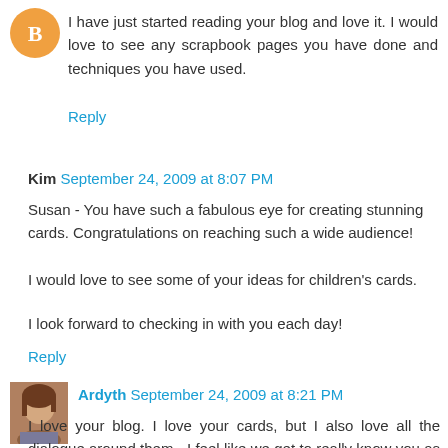[Figure (illustration): Orange/yellow circular avatar icon with blogger B logo]
I have just started reading your blog and love it. I would love to see any scrapbook pages you have done and techniques you have used.
Reply
Kim  September 24, 2009 at 8:07 PM
Susan - You have such a fabulous eye for creating stunning cards. Congratulations on reaching such a wide audience!

I would love to see some of your ideas for children's cards.

I look forward to checking in with you each day!
Reply
[Figure (photo): Small portrait photo of a woman with brown hair]
Ardyth  September 24, 2009 at 8:21 PM
I love your blog. I love your cards, but I also love all the dialogue around them - I feel like we get to really know you as a person. I would love to see you apply your CAS style